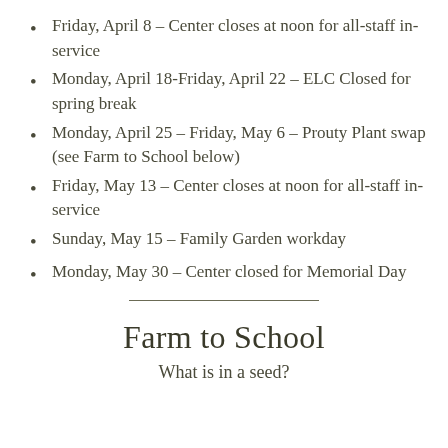Friday, April 8 – Center closes at noon for all-staff in-service
Monday, April 18-Friday, April 22 – ELC Closed for spring break
Monday, April 25 – Friday, May 6 – Prouty Plant swap (see Farm to School below)
Friday, May 13 – Center closes at noon for all-staff in-service
Sunday, May 15 – Family Garden workday
Monday, May 30 – Center closed for Memorial Day
Farm to School
What is in a seed?